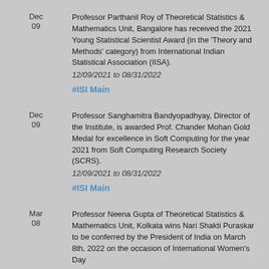Dec 09 — Professor Parthanil Roy of Theoretical Statistics & Mathematics Unit, Bangalore has received the 2021 Young Statistical Scientist Award (in the 'Theory and Methods' category) from International Indian Statistical Association (IISA). 12/09/2021 to 08/31/2022 #ISI Main
Dec 09 — Professor Sanghamitra Bandyopadhyay, Director of the Institute, is awarded Prof. Chander Mohan Gold Medal for excellence in Soft Computing for the year 2021 from Soft Computing Research Society (SCRS). 12/09/2021 to 08/31/2022 #ISI Main
Mar 08 — Professor Neena Gupta of Theoretical Statistics & Mathematics Unit, Kolkata wins Nari Shakti Puraskar to be conferred by the President of India on March 8th, 2022 on the occasion of International Women's Day 03/08/2022 to 11/30/2022